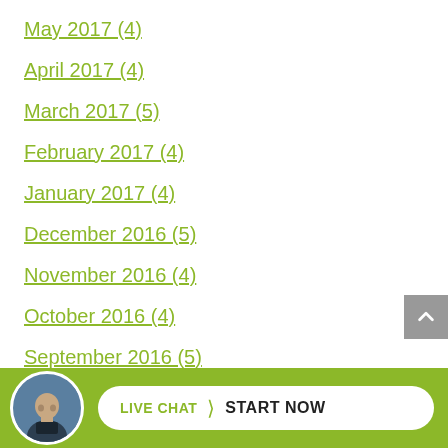May 2017 (4)
April 2017 (4)
March 2017 (5)
February 2017 (4)
January 2017 (4)
December 2016 (5)
November 2016 (4)
October 2016 (4)
September 2016 (5)
August (5)
[Figure (infographic): Live chat widget at bottom of page with avatar photo and 'LIVE CHAT START NOW' button on green background]